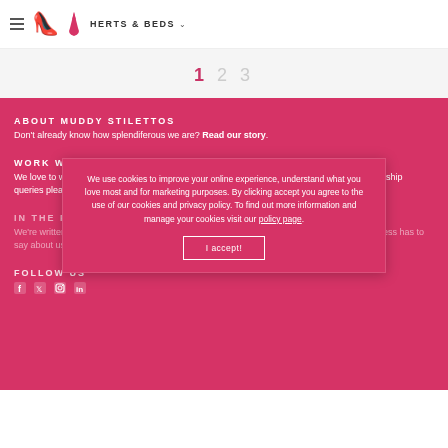HERTS & BEDS
1 2 3
ABOUT MUDDY STILETTOS
Don't already know how splendiferous we are? Read our story.
WORK WITH US
We love to work with like-minded brands and clients. For national advertising or brand partnership queries please find out how to Work with Muddy.
IN THE PRESS
We use cookies to improve your online experience, understand what you love most and for marketing purposes. By clicking accept you agree to the use of our cookies and privacy policy. To find out more information and manage your cookies visit our policy page.
FOLLOW US
f  t  instagram  in